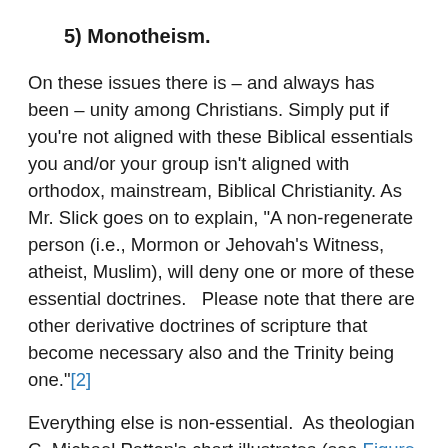5) Monotheism.
On these issues there is – and always has been – unity among Christians. Simply put if you're not aligned with these Biblical essentials you and/or your group isn't aligned with orthodox, mainstream, Biblical Christianity. As Mr. Slick goes on to explain, "A non-regenerate person (i.e., Mormon or Jehovah's Witness, atheist, Muslim), will deny one or more of these essential doctrines.   Please note that there are other derivative doctrines of scripture that become necessary also and the Trinity being one."[2]
Everything else is non-essential.  As theologian C. Michael Patton's chart illustrates (see Figure A above) that's not to say that the non-essentials are unimportant, it's just to say that the Bible is silent, ambiguous, or unclear on them – or that they're not essential for salvation.  Therefore, there's